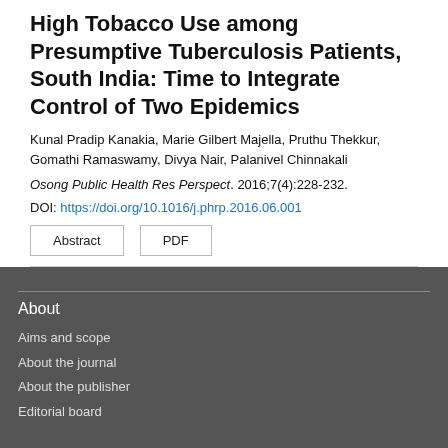High Tobacco Use among Presumptive Tuberculosis Patients, South India: Time to Integrate Control of Two Epidemics
Kunal Pradip Kanakia, Marie Gilbert Majella, Pruthu Thekkur, Gomathi Ramaswamy, Divya Nair, Palanivel Chinnakali
Osong Public Health Res Perspect. 2016;7(4):228-232.
DOI: https://doi.org/10.1016/j.phrp.2016.06.001
Abstract  PDF
About
Aims and scope
About the journal
About the publisher
Editorial board